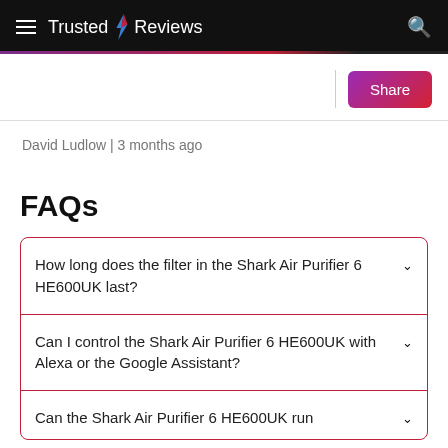Trusted Reviews
David Ludlow | 3 months ago
FAQs
How long does the filter in the Shark Air Purifier 6 HE600UK last?
Can I control the Shark Air Purifier 6 HE600UK with Alexa or the Google Assistant?
Can the Shark Air Purifier 6 HE600UK run